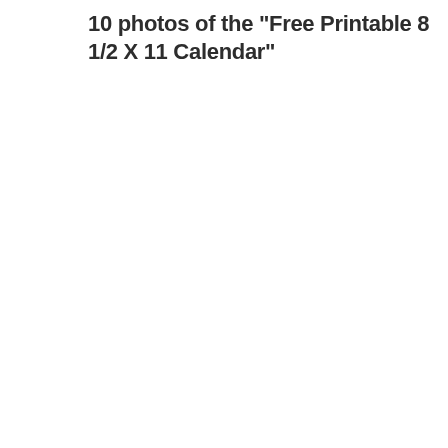10 photos of the "Free Printable 8 1/2 X 11 Calendar"
[Figure (other): Small thumbnail image of a printable calendar labeled 'August 2015' with a grid showing days of the week and dates, bordered with thin lines.]